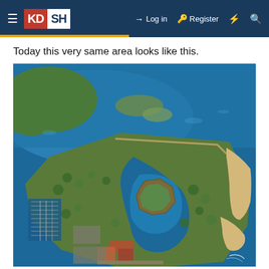KDSH – Log in – Register
Today this very same area looks like this.
[Figure (photo): Aerial photograph of a coastal military fort/peninsula surrounded by water. The peninsula has a star-shaped fort structure in the center, a marina with boat slips on the left, beaches on the right, and is surrounded by deep blue water. Urban areas and marsh visible in the background to the upper left.]